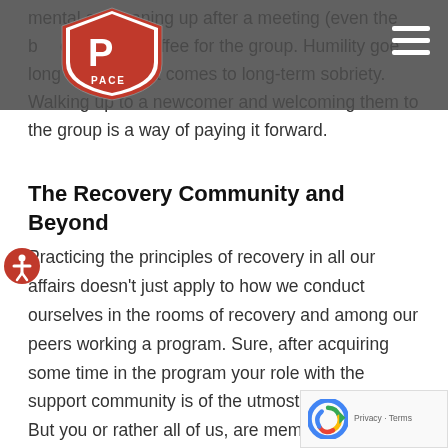PACE logo and navigation header
mental as cleaning up after a meeting (even the b… or making coffee for the group. Humility goe…long way, when it comes to long-term sobriety. Walking up to a newcomer and welcoming them to the group is a way of paying it forward.
The Recovery Community and Beyond
Practicing the principles of recovery in all our affairs doesn't just apply to how we conduct ourselves in the rooms of recovery and among our peers working a program. Sure, after acquiring some time in the program your role with the support community is of the utmost importance. But you or rather all of us, are members of a greater community—society. The good work you do in the…